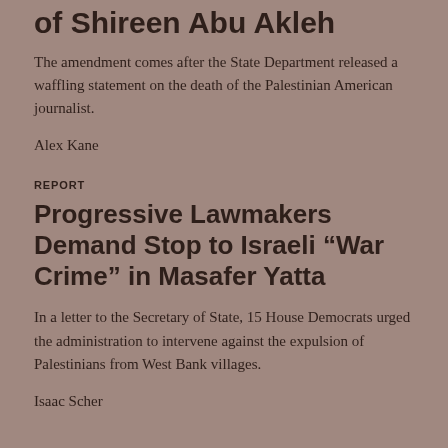of Shireen Abu Akleh
The amendment comes after the State Department released a waffling statement on the death of the Palestinian American journalist.
Alex Kane
REPORT
Progressive Lawmakers Demand Stop to Israeli “War Crime” in Masafer Yatta
In a letter to the Secretary of State, 15 House Democrats urged the administration to intervene against the expulsion of Palestinians from West Bank villages.
Isaac Scher
Also by Alex Kane